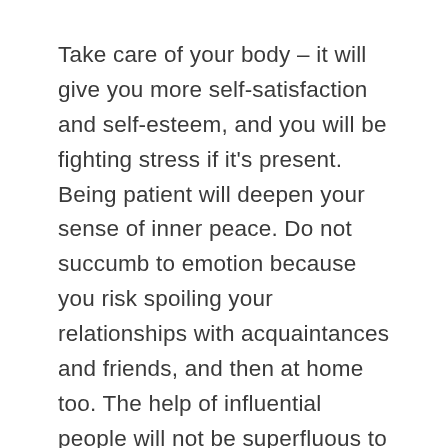Take care of your body – it will give you more self-satisfaction and self-esteem, and you will be fighting stress if it's present. Being patient will deepen your sense of inner peace. Do not succumb to emotion because you risk spoiling your relationships with acquaintances and friends, and then at home too. The help of influential people will not be superfluous to you. Analyze the words of your new acquaintances so that you can prevent living through another disappointment. It is better to quit unconsidered journeys because you may miss important meetings with the potential for future success. You will need to make important decisions about your future plans. You have known for some time that you need to change if you are ever